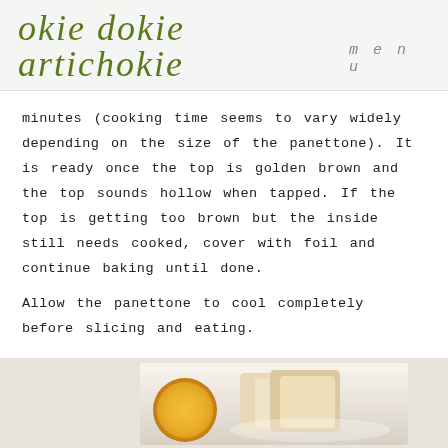okie dokie artichokie   menu
minutes (cooking time seems to vary widely depending on the size of the panettone). It is ready once the top is golden brown and the top sounds hollow when tapped. If the top is getting too brown but the inside still needs cooked, cover with foil and continue baking until done.
Allow the panettone to cool completely before slicing and eating.
Enjoy with butter and a huge mug of hot chocolate!
[Figure (photo): Photo of sliced panettone with butter on a plate, showing golden crust and soft interior]